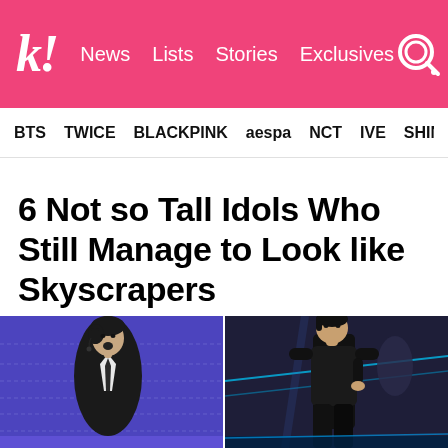k! News Lists Stories Exclusives
BTS TWICE BLACKPINK aespa NCT IVE SHINEE
6 Not so Tall Idols Who Still Manage to Look like Skyscrapers
It's all about those proportions.
[Figure (photo): Two K-pop performers on stage. Left: performer in black outfit with white shirt, singing into a microphone against a blue lit background. Right: performer in all black long-sleeve outfit on a stage with neon lights.]